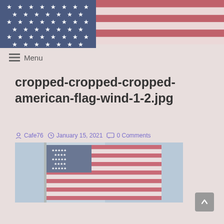[Figure (illustration): American flag banner header with blue canton containing white stars and red and white stripes]
≡ Menu
cropped-cropped-cropped-american-flag-wind-1-2.jpg
Cafe76   January 15, 2021   0 Comments
[Figure (photo): Photo of an American flag waving in the wind against a light blue sky background]